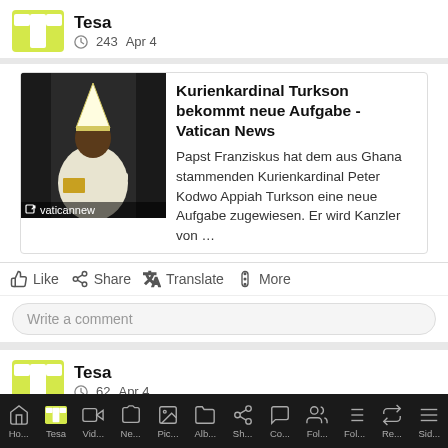Tesa · 243 · Apr 4
[Figure (screenshot): Article card with photo of Cardinal Turkson in white bishop robes and mitre, with vaticannews watermark. Article title: Kurienkardinal Turkson bekommt neue Aufgabe - Vatican News. Description: Papst Franziskus hat dem aus Ghana stammenden Kurienkardinal Peter Kodwo Appiah Turkson eine neue Aufgabe zugewiesen. Er wird Kanzler von ...]
Like  Share  Translate  More
Write a comment
Tesa · 62 · Apr 4
Francis has named Peter Cardinal Turkson as Chancellor
Ho... Tesa Vid... Ne... Pic... Alb... Sh... Co... Fol... Fol... Re... Sid...